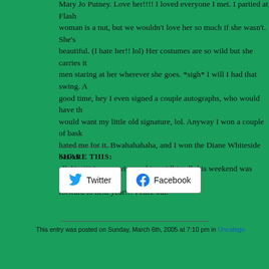authors from my publishers like Camille Anthony(my roomie), Madeli... Stephanie(Flash)Burke, Judy Mays, Ann Jacobs, Treva Harte, and m... Changling Press Caroline, and partied with the famous Mama Z of Ch... All very nice ladies (I hope I didn't leave anyone out if so, I'm sorry, m... am so exhausted, and let me tell you there were so many other autho... was so star struck. I felt like such a stalker because I kept watching th... believing I was in the same room with the. I met Mary Balough (love h... series) very nice lady, but the person who blew me away with how nic... Mary Jo Putney. Love her!!!! I loved everyone I met. I partied at Flash... woman is a nut, but we wouldn't love her so much if she wasn't. She's... beautiful. (I hate her!! lol) Her costumes are so wild but she carries it... men staring at her wherever she goes. *sigh* I will I had that swing. A... good time, hey I even signed a couple autographs, who would have th... would want my little old signature, lol. Anyway I won a couple of bask... hated me for it. Bwahahahaha, and I won the Diane Whiteside basket... all. Yea!!! I never win anything. All in all this weekend was great, and I... forward to next year!!! Peace out.
SHARE THIS:
Twitter   Facebook
This entry was posted on Sunday, March 6th, 2005 at 7:10 pm in Uncatego...